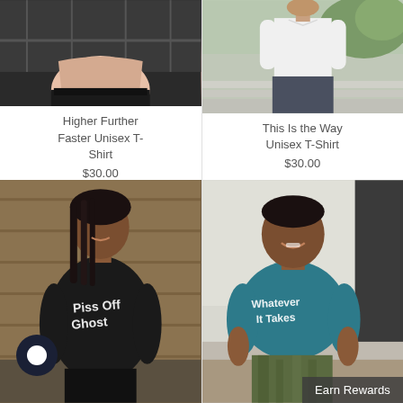[Figure (photo): Cropped photo of a person's torso wearing a pink/beige top and black pants, outdoor setting]
[Figure (photo): Photo of a man in a white shirt and dark pants, standing outdoors near steps with greenery]
Higher Further Faster Unisex T-Shirt
$30.00
This Is the Way Unisex T-Shirt
$30.00
[Figure (photo): Woman wearing a black t-shirt with 'Piss Off, Ghost' text, smiling, outdoor urban background with wooden fence]
[Figure (photo): Man sitting and smiling, wearing a teal t-shirt with 'Whatever It Takes' text, outdoor setting]